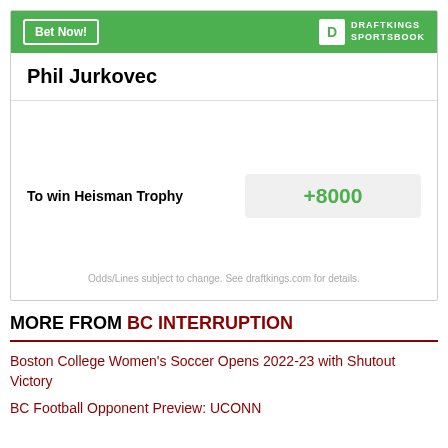[Figure (other): DraftKings Sportsbook betting widget showing Phil Jurkovec's odds to win Heisman Trophy at +8000]
Phil Jurkovec
To win Heisman Trophy +8000
Odds/Lines subject to change. See draftkings.com for details.
MORE FROM BC INTERRUPTION
Boston College Women's Soccer Opens 2022-23 with Shutout Victory
BC Football Opponent Preview: UCONN